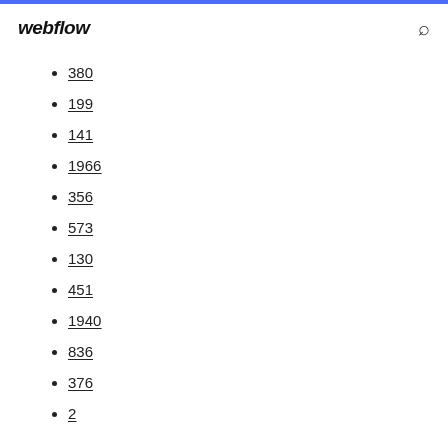webflow
380
199
141
1966
356
573
130
451
1940
836
376
2